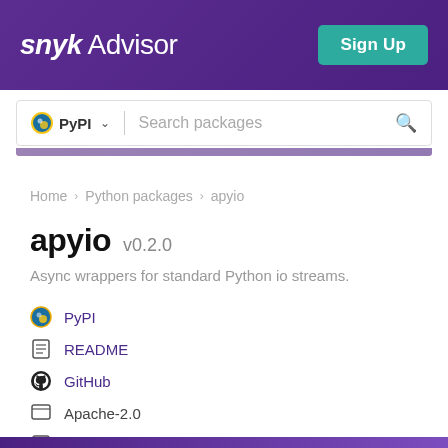snyk Advisor — Sign Up
PyPI — Search packages
Home > Python packages > apyio
apyio v0.2.0
Async wrappers for standard Python io streams.
PyPI
README
GitHub
Apache-2.0
Latest version published 7 years ago